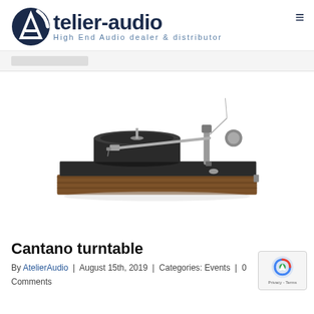atelier-audio — High End Audio dealer & distributor
[Figure (photo): High-end Cantano turntable with silver tonearm, dark platter, and wood veneer plinth, photographed on white background]
Cantano turntable
By AtelierAudio | August 15th, 2019 | Categories: Events | 0 Comments